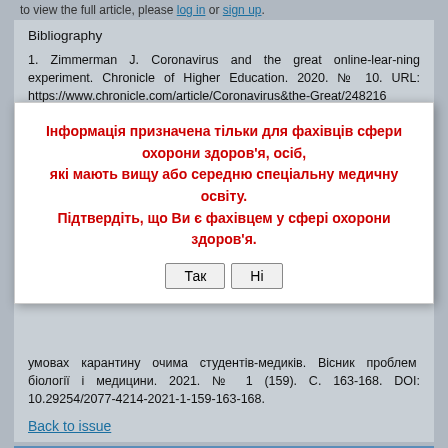to view the full article, please log in or sign up.
Bibliography
1. Zimmerman J. Coronavirus and the great online-lear-ning experiment. Chronicle of Higher Education. 2020. № 10. URL: https://www.chronicle.com/article/Coronavirus&the-Great/248216
2. Кучеренко В.М., Бондаренко В.В. Екстрене дистанційне навчання в Україні. Харків: Міська друкарня, 2020. С. 7-29.
3. Герасименко О.І., Полесова Т.Р., Герасименко В.В., Кухарева Н.С.
Інформація призначена тільки для фахівців сфери охорони здоров'я, осіб, які мають вищу або середню спеціальну медичну освіту. Підтвердіть, що Ви є фахівцем у сфері охорони здоров'я.
умовах карантину очима студентів-медиків. Вісник проблем біології і медицини. 2021. № 1 (159). С. 163-168. DOI: 10.29254/2077-4214-2021-1-159-163-168.
Back to issue
Categories | Sections
bigmir)net
68    1774